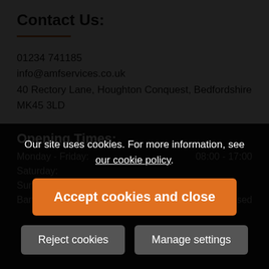Contact Us:
01234 741185
info@amfservices.co.uk
40 Rectory Lane, Houghton Conquest, Bedfordshire MK45 3LD
Terms & Conditions
Opening Times:
Our site uses cookies. For more information, see our cookie policy.
Accept cookies and close
Reject cookies
Manage settings
Monday - Friday:
08:00 - 17:00
Saturday:
Sunday:
Bank Holidays
Closed